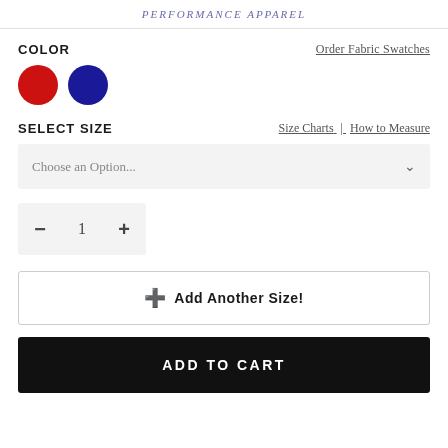PERFORMANCE APPAREL
COLOR
Order Fabric Swatches
[Figure (illustration): Two color swatches: a red circle and a dark blue/navy circle]
SELECT SIZE
Size Charts | How to Measure
Choose an Option...
- 1 +
+ Add Another Size!
ADD TO CART